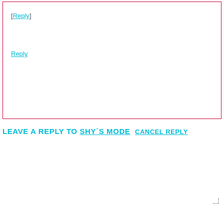[Reply]
Reply
LEAVE A REPLY TO SHY´S MODE CANCEL REPLY
[Figure (other): Comment textarea input box with crimson border]
[Figure (other): Name input field with crimson border and Name * label]
[Figure (other): Email input field with crimson border (partially visible at bottom)]